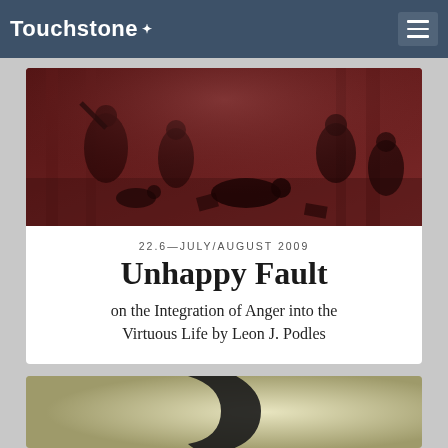Touchstone
[Figure (illustration): Historical engraving depicting a chaotic scene with multiple figures, appearing to show violence or conflict in a classical setting with columns. Rendered in sepia/dark red tones.]
22.6—JULY/AUGUST 2009
Unhappy Fault
on the Integration of Anger into the Virtuous Life by Leon J. Podles
[Figure (illustration): Partial view of a crescent/hook symbol on a golden-olive background, cropped at the bottom of the page.]